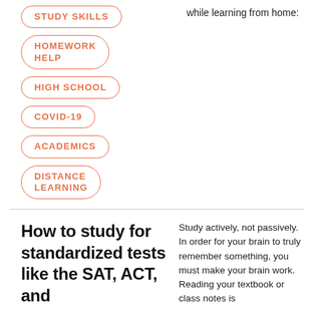STUDY SKILLS
HOMEWORK HELP
HIGH SCHOOL
COVID-19
ACADEMICS
DISTANCE LEARNING
while learning from home:
How to study for standardized tests like the SAT, ACT, and
Study actively, not passively. In order for your brain to truly remember something, you must make your brain work. Reading your textbook or class notes is